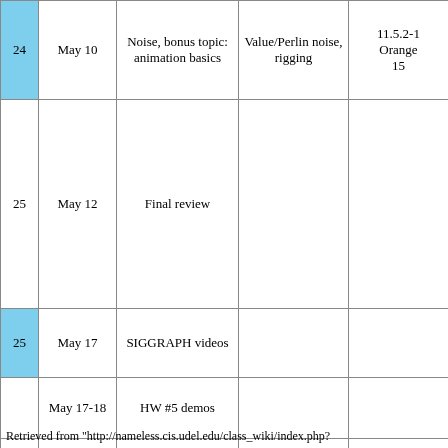| Lec | Date | Topic | Readings | HW/Due |
| --- | --- | --- | --- | --- |
| 24 | May 10 | Noise, bonus topic: animation basics | Value/Perlin noise, rigging | 11.5.2-1
Orange
15 |
| 25 | May 12 | Final review |  |  |
| 25 | May 17 | SIGGRAPH videos |  |  |
|  | May 17-18 | HW #5 demos |  |  |
|  | May 19-26 | FINAL EXAMS |  |  |
Retrieved from "http://nameless.cis.udel.edu/class_wiki/index.php?